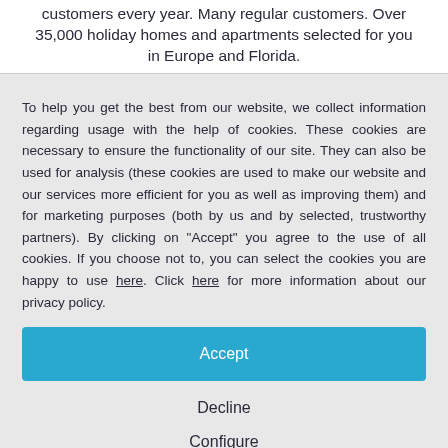customers every year. Many regular customers. Over 35,000 holiday homes and apartments selected for you in Europe and Florida.
To help you get the best from our website, we collect information regarding usage with the help of cookies. These cookies are necessary to ensure the functionality of our site. They can also be used for analysis (these cookies are used to make our website and our services more efficient for you as well as improving them) and for marketing purposes (both by us and by selected, trustworthy partners). By clicking on "Accept" you agree to the use of all cookies. If you choose not to, you can select the cookies you are happy to use here. Click here for more information about our privacy policy.
Accept
Decline
Configure